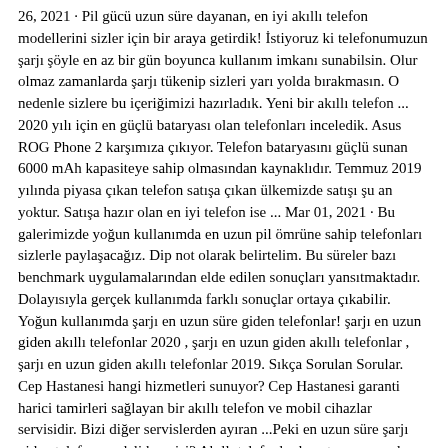26, 2021 · Pil gücü uzun süre dayanan, en iyi akıllı telefon modellerini sizler için bir araya getirdik! İstiyoruz ki telefonumuzun şarjı şöyle en az bir gün boyunca kullanım imkanı sunabilsin. Olur olmaz zamanlarda şarjı tükenip sizleri yarı yolda bırakmasın. O nedenle sizlere bu içeriğimizi hazırladık. Yeni bir akıllı telefon ... 2020 yılı için en güçlü bataryası olan telefonları inceledik. Asus ROG Phone 2 karşımıza çıkıyor. Telefon bataryasını güçlü sunan 6000 mAh kapasiteye sahip olmasından kaynaklıdır. Temmuz 2019 yılında piyasa çıkan telefon satışa çıkan ülkemizde satışı şu an yoktur. Satışa hazır olan en iyi telefon ise ... Mar 01, 2021 · Bu galerimizde yoğun kullanımda en uzun pil ömrüne sahip telefonları sizlerle paylaşacağız. Dip not olarak belirtelim. Bu süreler bazı benchmark uygulamalarından elde edilen sonuçları yansıtmaktadır. Dolayısıyla gerçek kullanımda farklı sonuçlar ortaya çıkabilir. Yoğun kullanımda şarjı en uzun süre giden telefonlar! şarjı en uzun giden akıllı telefonlar 2020 , şarjı en uzun giden akıllı telefonlar , şarjı en uzun giden akıllı telefonlar 2019. Sıkça Sorulan Sorular. Cep Hastanesi hangi hizmetleri sunuyor? Cep Hastanesi garanti harici tamirleri sağlayan bir akıllı telefon ve mobil cihazlar servisidir. Bizi diğer servislerden ayıran ...Peki en uzun süre şarjı giden telefon modeli hangisi? Akıllı telefonlar hayatımızın ayrılmaz bir parçası haline gelirken birçok modelin şarjı yoğun kullanımda sadece bir gün ...
Yenidogan bebek gelisimi hafta hafta